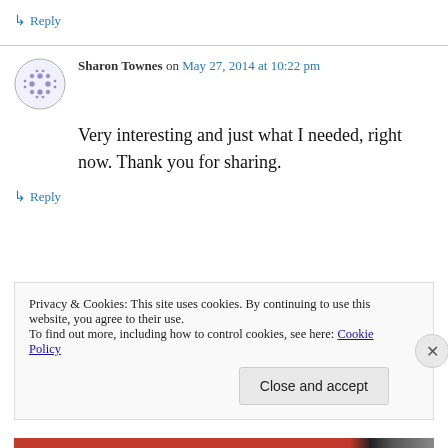↳ Reply
Sharon Townes on May 27, 2014 at 10:22 pm
Very interesting and just what I needed, right now. Thank you for sharing.
↳ Reply
Privacy & Cookies: This site uses cookies. By continuing to use this website, you agree to their use.
To find out more, including how to control cookies, see here: Cookie Policy
Close and accept